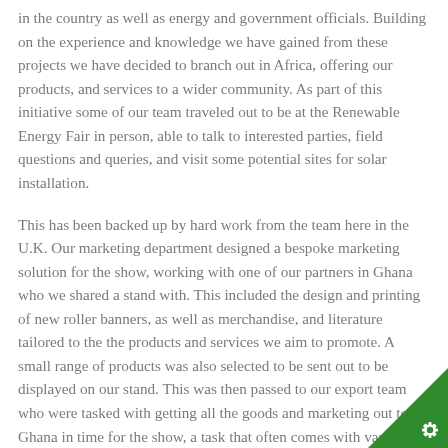in the country as well as energy and government officials. Building on the experience and knowledge we have gained from these projects we have decided to branch out in Africa, offering our products, and services to a wider community. As part of this initiative some of our team traveled out to be at the Renewable Energy Fair in person, able to talk to interested parties, field questions and queries, and visit some potential sites for solar installation.
This has been backed up by hard work from the team here in the U.K. Our marketing department designed a bespoke marketing solution for the show, working with one of our partners in Ghana who we shared a stand with. This included the design and printing of new roller banners, as well as merchandise, and literature tailored to the the products and services we aim to promote. A small range of products was also selected to be sent out to be displayed on our stand. This was then passed to our export team who were tasked with getting all the goods and marketing out to Ghana in time for the show, a task that often comes with various challenges!
Being out in Ghana again was also a great opportunity to meet with the team we have worked closely with on several proje...